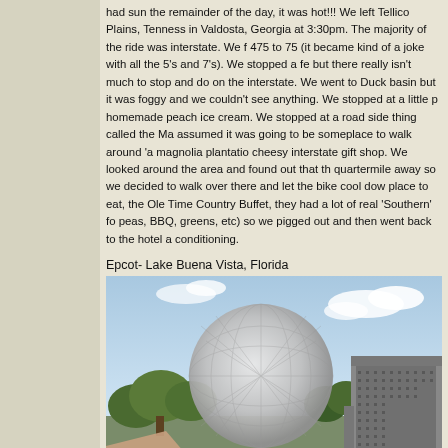had sun the remainder of the day, it was hot!!! We left Tellico Plains, Tennessee and arrived in Valdosta, Georgia at 3:30pm. The majority of the ride was interstate. We flew down 75 to 475 to 75 (it became kind of a joke with all the 5's and 7's). We stopped a few times but there really isn't much to stop and do on the interstate. We went to Ducktown to see the basin but it was foggy and we couldn't see anything. We stopped at a little place that had homemade peach ice cream. We stopped at a road side thing called the Magnolia Plantation. We assumed it was going to be someplace to walk around 'a magnolia plantation' but it was just a cheesy interstate gift shop. We looked around the area and found out that there was a hotel a quartermile away so we decided to walk over there and let the bike cool down. We found a place to eat, the Ole Time Country Buffet, they had a lot of real 'Southern' food (black eyed peas, BBQ, greens, etc) so we pigged out and then went back to the hotel and sat in air conditioning.
Epcot- Lake Buena Vista, Florida
[Figure (photo): Photograph of Epcot's Spaceship Earth geodesic sphere with trees and another building visible in the foreground, taken from ground level with a partly cloudy sky.]